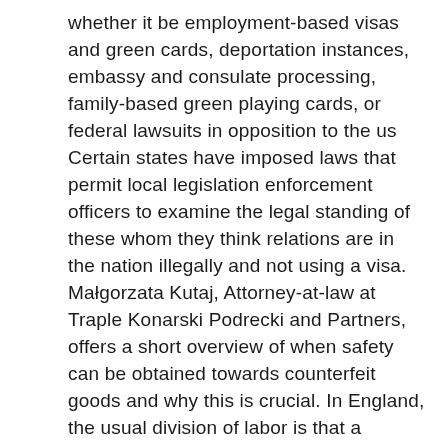whether it be employment-based visas and green cards, deportation instances, embassy and consulate processing, family-based green playing cards, or federal lawsuits in opposition to the us Certain states have imposed laws that permit local legislation enforcement officers to examine the legal standing of these whom they think relations are in the nation illegally and not using a visa. Małgorzata Kutaj, Attorney-at-law at Traple Konarski Podrecki and Partners, offers a short overview of when safety can be obtained towards counterfeit goods and why this is crucial. In England, the usual division of labor is that a solicitor will obtain the information of the case from the client after which transient a barrister . Unfortunately, these ways are encouraging racial profiling and have led many harmless people to be singled out as in the occasion that they were criminals. Micheline Dessureault, Caroline Guy, Johanne Muzzo and Simone Ndiaye of Therrien Couture